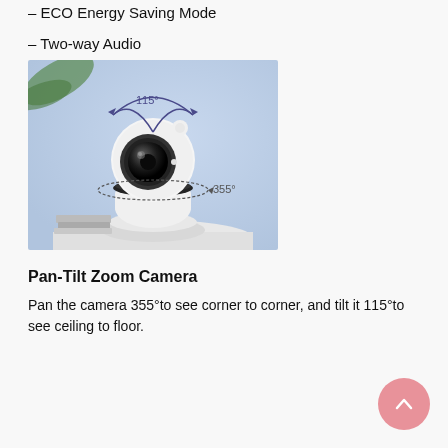– ECO Energy Saving Mode
– Two-way Audio
– Lullaby
[Figure (photo): White pan-tilt zoom security camera on a white surface with blue background. Annotations show 115° tilt arc above and 355° pan rotation below the camera.]
Pan-Tilt Zoom Camera
Pan the camera 355°to see corner to corner, and tilt it 115°to see ceiling to floor.